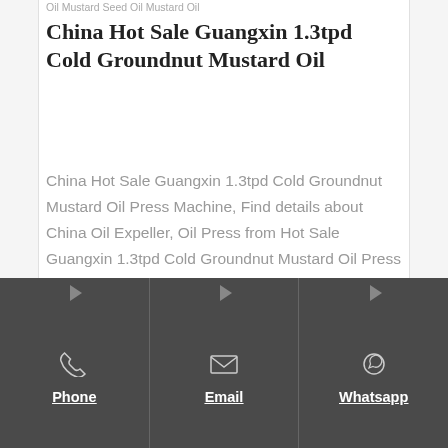Oil Mustard Seed Oil Mustard Oil
China Hot Sale Guangxin 1.3tpd Cold Groundnut Mustard Oil
China Hot Sale Guangxin 1.3tpd Cold Groundnut Mustard Oil Press Machine, Find details about China Oil Expeller, Oil Press from Hot Sale Guangxin 1.3tpd Cold Groundnut Mustard Oil Press Machine Sichuan Guangxin Machinery of Grain &
Phone | Email | Whatsapp